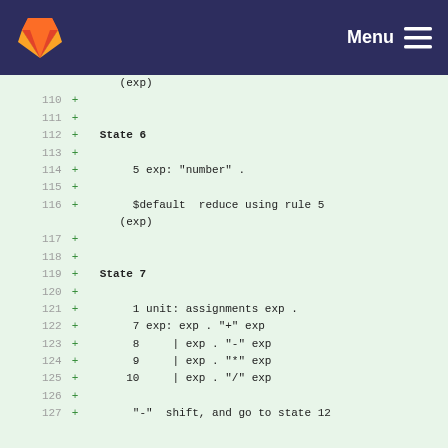Menu
(exp)
110 +
111 +
112 + State 6
113 +
114 +     5 exp: "number" .
115 +
116 +     $default  reduce using rule 5
    (exp)
117 +
118 +
119 + State 7
120 +
121 +     1 unit: assignments exp .
122 +     7 exp: exp . "+" exp
123 +     8     | exp . "-" exp
124 +     9     | exp . "*" exp
125 +    10     | exp . "/" exp
126 +
127 +     "-"  shift, and go to state 12